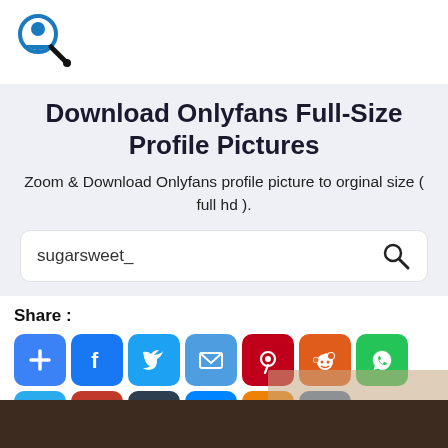[Figure (logo): Search icon with magnifying glass and person silhouette]
Download Onlyfans Full-Size Profile Pictures
Zoom & Download Onlyfans profile picture to orginal size ( full hd ).
sugarsweet_
Share :
[Figure (infographic): Row of social share buttons: Add, Facebook, Twitter, Email, Pinterest, Reddit, WhatsApp, Telegram, Gmail, Tumblr, Messenger, Odnoklassniki, VK]